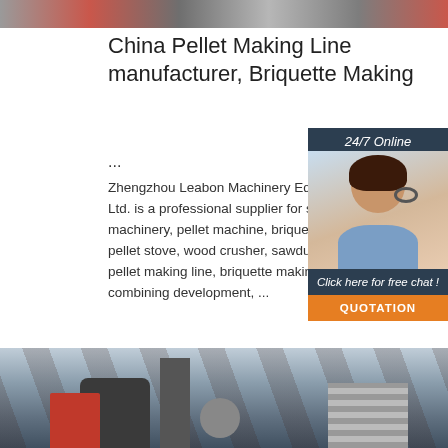[Figure (photo): Top strip image showing industrial machinery with red equipment]
China Pellet Making Line manufacturer, Briquette Making ...
Zhengzhou Leabon Machinery Equipment Ltd. is a professional supplier for separation machinery, pellet machine, briquette mac pellet stove, wood crusher, sawdust drye pellet making line, briquette making line, combining development, ...
[Figure (illustration): 24/7 Online chat widget with a smiling woman wearing a headset, dark background, Click here for free chat, QUOTATION button in orange]
[Figure (photo): Bottom image showing factory interior with industrial machinery]